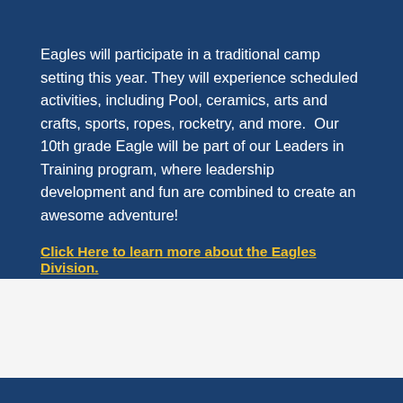Eagles will participate in a traditional camp setting this year. They will experience scheduled activities, including Pool, ceramics, arts and crafts, sports, ropes, rocketry, and more.  Our 10th grade Eagle will be part of our Leaders in Training program, where leadership development and fun are combined to create an awesome adventure!
Click Here to learn more about the Eagles Division.